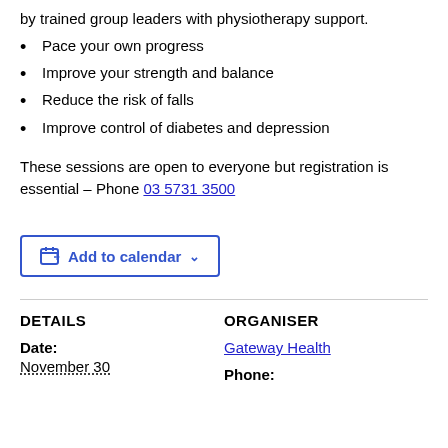by trained group leaders with physiotherapy support.
Pace your own progress
Improve your strength and balance
Reduce the risk of falls
Improve control of diabetes and depression
These sessions are open to everyone but registration is essential – Phone 03 5731 3500
[Figure (other): Add to calendar button with calendar icon and chevron]
DETAILS
ORGANISER
Date:
November 30
Gateway Health
Phone: